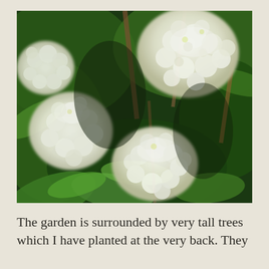[Figure (photo): Close-up photograph of white hydrangea flower clusters with lush green leaves in the background, taken in bright sunlight.]
The garden is surrounded by very tall trees which I have planted at the very back. They